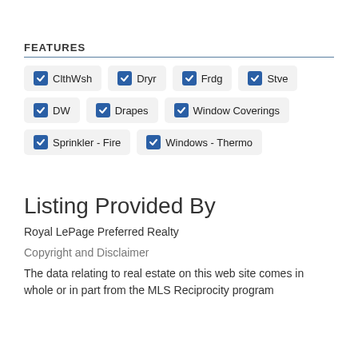FEATURES
ClthWsh
Dryr
Frdg
Stve
DW
Drapes
Window Coverings
Sprinkler - Fire
Windows - Thermo
Listing Provided By
Royal LePage Preferred Realty
Copyright and Disclaimer
The data relating to real estate on this web site comes in whole or in part from the MLS Reciprocity program